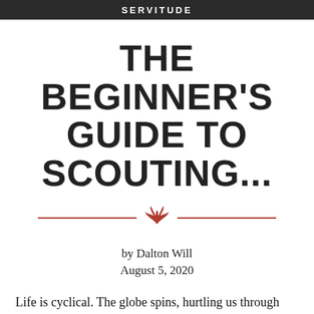SERVITUDE
THE BEGINNER'S GUIDE TO SCOUTING...
by Dalton Will
August 5, 2020
Life is cyclical. The globe spins, hurtling us through time and space at a thousand miles per hour (literally) causing the seasons to move. Winter loses it's icy grip on the earth and the renewal of spring bursts forth into